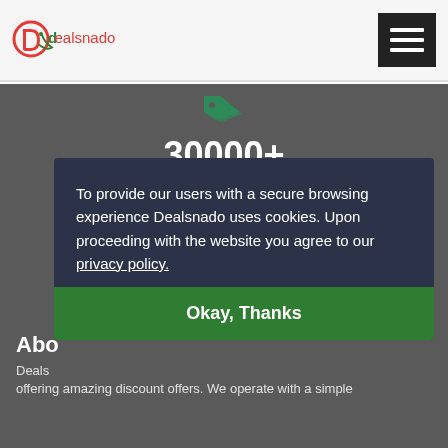Dealsnado
30000+
DISCOUNT CODES
To provide our users with a secure browsing experience Dealsnado uses cookies. Upon proceeding with the website you agree to our privacy policy.
Abo
Deals offering amazing discount offers. We operate with a simple